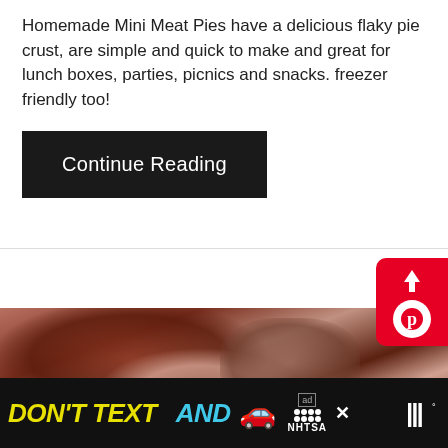Homemade Mini Meat Pies have a delicious flaky pie crust, are simple and quick to make and great for lunch boxes, parties, picnics and snacks. freezer friendly too!
Continue Reading
[Figure (photo): Close-up photo of mini meat pies showing flaky crust and meat filling on a white surface]
WHAT'S NEXT → Zucchini Bread
DON'T TEXT AND [car emoji] ad NHTSA ×